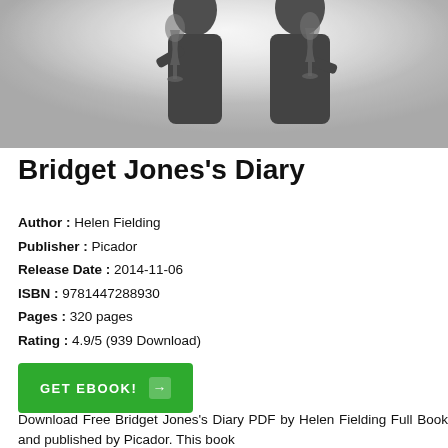[Figure (photo): Silhouette of two people toasting with wine glasses against a light background, grayscale/blurred photo used as book cover image]
Bridget Jones's Diary
Author : Helen Fielding
Publisher : Picador
Release Date : 2014-11-06
ISBN : 9781447288930
Pages : 320 pages
Rating : 4.9/5 (939 Download)
GET EBOOK!
Download Free Bridget Jones's Diary PDF by Helen Fielding Full Book and published by Picador. This book